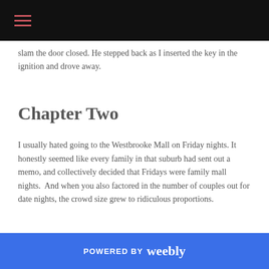slam the door closed. He stepped back as I inserted the key in the ignition and drove away.
Chapter Two
I usually hated going to the Westbrooke Mall on Friday nights. It honestly seemed like every family in that suburb had sent out a memo, and collectively decided that Fridays were family mall nights.  And when you also factored in the number of couples out for date nights, the crowd size grew to ridiculous proportions.
POWERED BY weebly